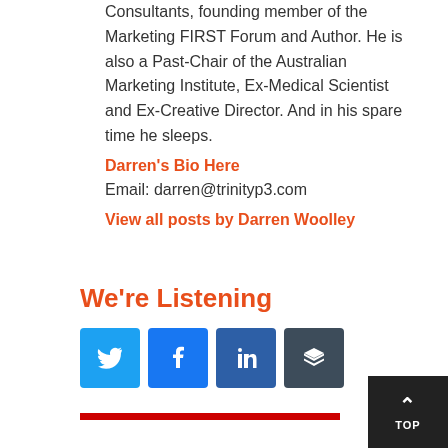Consultants, founding member of the Marketing FIRST Forum and Author. He is also a Past-Chair of the Australian Marketing Institute, Ex-Medical Scientist and Ex-Creative Director. And in his spare time he sleeps.
Darren's Bio Here
Email: darren@trinityp3.com
View all posts by Darren Woolley
We're Listening
[Figure (infographic): Social sharing buttons: Twitter (blue), Facebook (blue), LinkedIn (dark blue), Buffer (dark gray)]